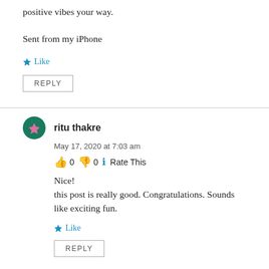positive vibes your way.
Sent from my iPhone
Like
REPLY
ritu thakre
May 17, 2020 at 7:03 am
👍 0 👎 0 ℹ Rate This
Nice!
this post is really good. Congratulations. Sounds like exciting fun.
Like